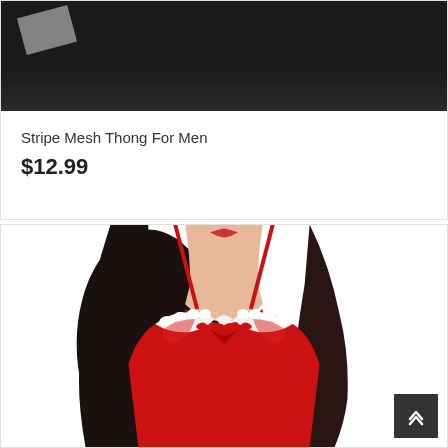[Figure (photo): Partial product image on dark black background showing a grey/silver object (likely a pair of underwear) against black background]
Stripe Mesh Thong For Men
$12.99
[Figure (photo): Woman wearing red Christmas lingerie babydoll with white fur trim and red bow, dark hair, photographed from chest up]